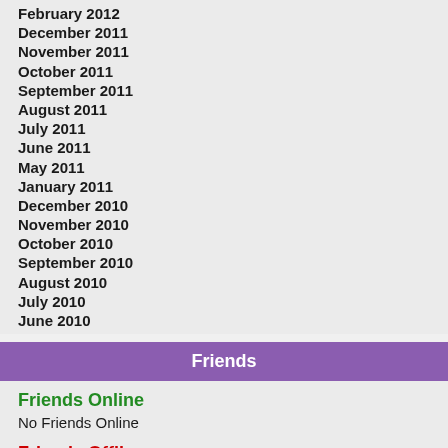February 2012
December 2011
November 2011
October 2011
September 2011
August 2011
July 2011
June 2011
May 2011
January 2011
December 2010
November 2010
October 2010
September 2010
August 2010
July 2010
June 2010
Friends
Friends Online
No Friends Online
Friends Offline